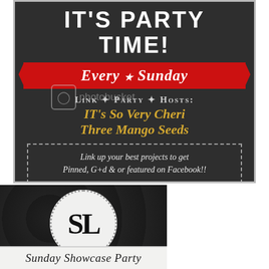[Figure (infographic): Chalkboard-style party invitation banner on dark background. Text reads 'IT'S PARTY TIME!' at top in white bold caps, then a red ribbon banner with 'Every ★ Sunday' in white italic, then 'LINK PARTY HOSTS:' in gray small caps, then 'IT's So Very Cheri' and 'Three Mango Seeds' in gold italic, then a dotted border box with 'Link up your best projects to get Pinned, G+d & or featured on Facebook!!' in white italic. Photobucket watermark overlaid.]
[Figure (logo): Dark background logo with a large white circle containing dotted ring border and 'SL' monogram letters in black serif font. Below the circle area is a white/light bar with 'Sunday Showcase Party' written in black italic script.]